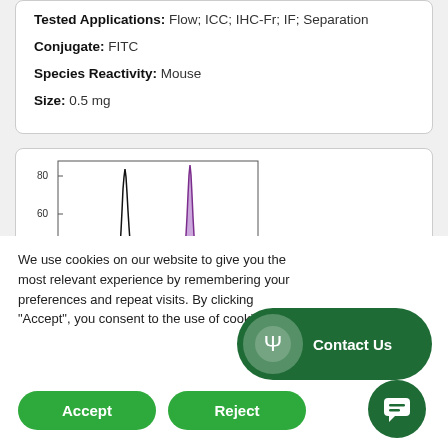Tested Applications: Flow; ICC; IHC-Fr; IF; Separation
Conjugate: FITC
Species Reactivity: Mouse
Size: 0.5 mg
[Figure (continuous-plot): Partial flow cytometry histogram showing two peaks, one black outline and one filled purple, with y-axis values visible at 60 and 80]
We use cookies on our website to give you the most relevant experience by remembering your preferences and repeat visits. By clicking “Accept”, you consent to the use of cookies.
Accept
Reject
Contact Us
[Figure (other): Chat bubble icon button (green circle)]